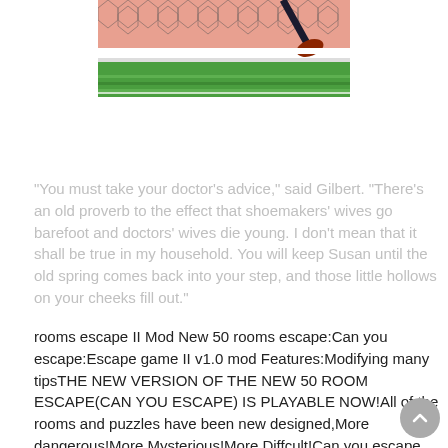[Figure (illustration): A soccer/football game illustration showing a goalkeeper jumping near a net, with a green field visible below and a hexagonal net pattern above.]
"You must take your doctor's advice," said Gilbert. "There's an old proverb to the effect that shoemakers' wives go barefoot and doctors' wives die young. I don't mean that it shall be true in my household. You will keep Susan until the old spring comes back into your step, and those little hollows on your cheeks fill out."
rooms escape II Mod New 50 rooms escape:Can you escape:Escape game II v1.0 mod Features:Modifying many tipsTHE NEW VERSION OF THE NEW 50 ROOM ESCAPE(CAN YOU ESCAPE) IS PLAYABLE NOW!All of the rooms and puzzles have been new designed,More dangerous!More Mysterious!More Diffcult!Can you escape from the new rooms?Come and challenge yourself!Totally free pa